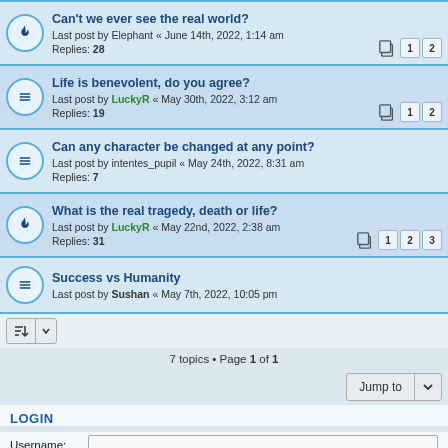Can't we ever see the real world?
Last post by Elephant « June 14th, 2022, 1:14 am
Replies: 28
Life is benevolent, do you agree?
Last post by LuckyR « May 30th, 2022, 3:12 am
Replies: 19
Can any character be changed at any point?
Last post by intentes_pupil « May 24th, 2022, 8:31 am
Replies: 7
What is the real tragedy, death or life?
Last post by LuckyR « May 22nd, 2022, 2:38 am
Replies: 31
Success vs Humanity
Last post by Sushan « May 7th, 2022, 10:05 pm
7 topics • Page 1 of 1
LOGIN
Username:
Password:
Remember me  Login